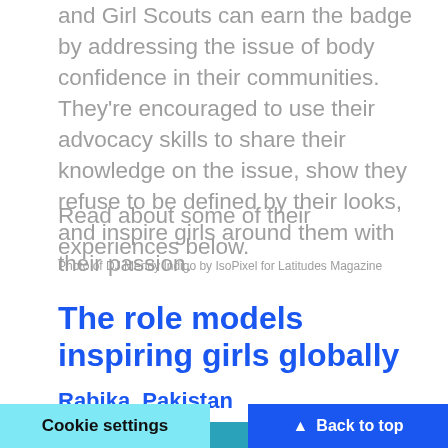and Girl Scouts can earn the badge by addressing the issue of body confidence in their communities. They're encouraged to use their advocacy skills to share their knowledge on the issue, show they refuse to be defined by their looks, and inspire girls around them with their passion.
Read about some of their experiences below.
Photo of DJ Mendy Indigo by IsoPixel for Latitudes Magazine
The role models inspiring girls globally
Rabika, Pakistan
[Figure (photo): Partial photo visible at bottom of page showing a person with blonde hair against a teal/blue background]
Cookie settings
▲ Back to top